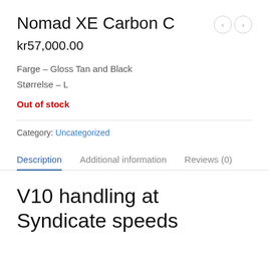Nomad XE Carbon C
kr57,000.00
Farge – Gloss Tan and Black
Størrelse – L
Out of stock
Category: Uncategorized
Description
Additional information
Reviews (0)
V10 handling at Syndicate speeds